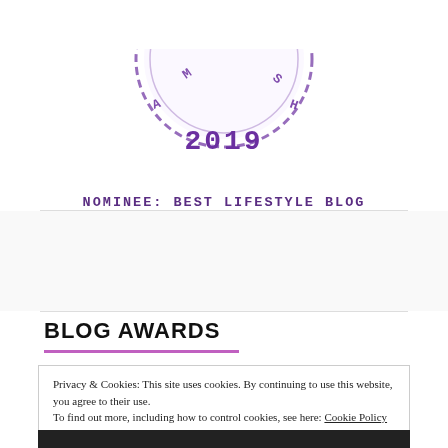[Figure (logo): Circular stamp/badge graphic with '2019' text in center and dashed border ring, purple color, partial view (top half cropped)]
NOMINEE: BEST LIFESTYLE BLOG
BLOG AWARDS
Privacy & Cookies: This site uses cookies. By continuing to use this website, you agree to their use. To find out more, including how to control cookies, see here: Cookie Policy
Close and accept